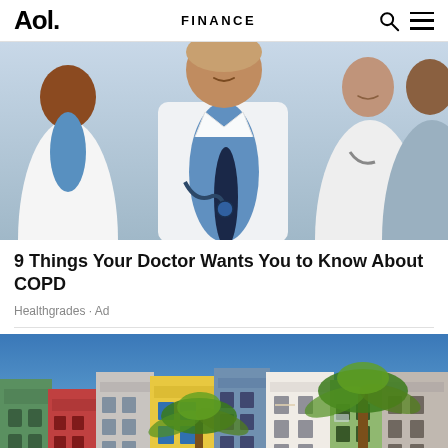Aol. | FINANCE
[Figure (photo): Group of medical professionals in white coats smiling, with a doctor in center foreground wearing a stethoscope and dark tie]
9 Things Your Doctor Wants You to Know About COPD
Healthgrades · Ad
[Figure (photo): Colorful multi-story buildings with palm trees in a Mediterranean town setting against a blue sky]